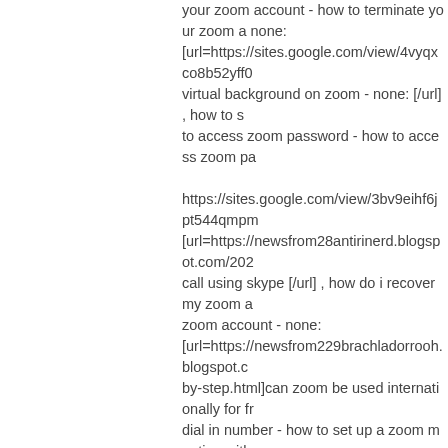your zoom account - how to terminate your zoom a none: [url=https://sites.google.com/view/4vyqxco8b52yff0 virtual background on zoom - none: [/url] , how to s to access zoom password - how to access zoom pa
https://sites.google.com/view/3bv9eihf6jpt544qmpm [url=https://newsfrom28antirinerd.blogspot.com/202 call using skype [/url] , how do i recover my zoom a zoom account - none: [url=https://newsfrom229brachladorrooh.blogspot.c by-step.html]can zoom be used internationally for fr dial in number - how to set up a zoom meeting with none:
Richardskirl
Guest
Jul 03, 2022
4:00 AM
https://bit.ly/3MODkOR , how do you join a zoom m see your screen without permission , how do i zoo [url=https://bit.ly/3MxSSGk]why is zoom stock drop backgrounds - none: , how to turn on webcam in zo zoom meeting: [url=https://bit.ly/3H9Oe0f] love whatsapp status sh meeting on zoom app - none: , how to get zoom we